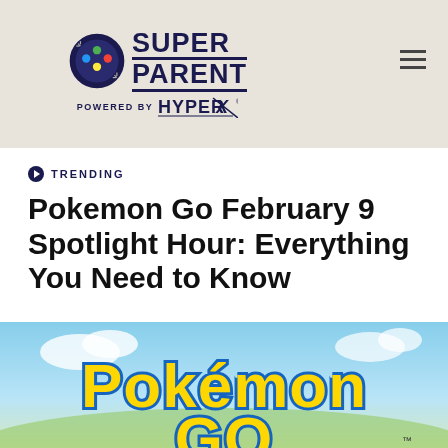[Figure (logo): SuperParent logo with game controller icon and 'POWERED BY HYPERX' tagline on beige/tan header background with hamburger menu icon]
TRENDING
Pokemon Go February 9 Spotlight Hour: Everything You Need to Know
[Figure (photo): Pokemon Go game logo on a blurred outdoor background with sky and greenery, showing the Pokemon Go text in yellow with blue outline]